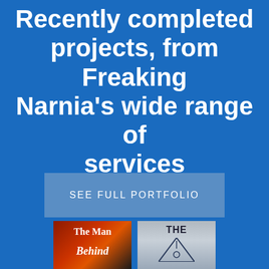Recently completed projects, from Freaking Narnia's wide range of services
SEE FULL PORTFOLIO
[Figure (illustration): Two book covers partially visible at the bottom. Left cover: 'The Man Behind' with dark red/orange gradient background. Right cover: 'THE' with a grey/blue background and a triangular graphic element.]